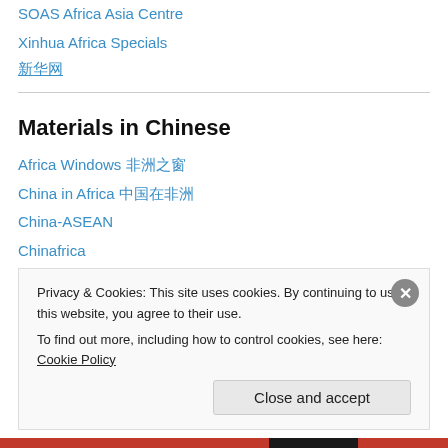SOAS Africa Asia Centre
Xinhua Africa Specials
新华网
Materials in Chinese
Africa Windows 非洲之窗
China in Africa 中国在非洲
China-ASEAN
Chinafrica
Chinese Chamber of Commerce in Cambodia
果敢论坛 (Kokang Forum)
选择东非自由区，创造宏大目标 Choose the East Africa Tax-Free Zone, create a lofty goal
Privacy & Cookies: This site uses cookies. By continuing to use this website, you agree to their use.
To find out more, including how to control cookies, see here: Cookie Policy
Close and accept